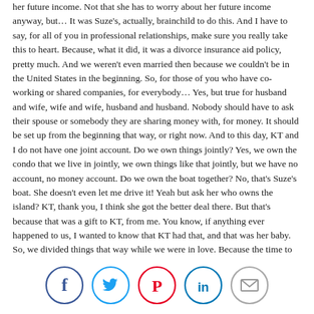her future income. Not that she has to worry about her future income anyway, but… It was Suze's, actually, brainchild to do this. And I have to say, for all of you in professional relationships, make sure you really take this to heart. Because, what it did, it was a divorce insurance aid policy, pretty much. And we weren't even married then because we couldn't be in the United States in the beginning. So, for those of you who have co-working or shared companies, for everybody… Yes, but true for husband and wife, wife and wife, husband and husband. Nobody should have to ask their spouse or somebody they are sharing money with, for money. It should be set up from the beginning that way, or right now. And to this day, KT and I do not have one joint account. Do we own things jointly? Yes, we own the condo that we live in jointly, we own things like that jointly, but we have no account, no money account. Do we own the boat together? No, that's Suze's boat. She doesn't even let me drive it! Yeah but ask her who owns the island? KT, thank you, I think she got the better deal there. But that's because that was a gift to KT, from me. You know, if anything ever happened to us, I wanted to know that KT had that, and that was her baby. So, we divided things that way while we were in love. Because the time to prepare for the what-ifs of life is not when you are in a state of hate. I want to give them some really valid tips on how we live together. And one of the things that we do which is great is that we discuss.
[Figure (other): Social media sharing icons row: Facebook (blue circle), Twitter (light blue circle), Pinterest (red circle), LinkedIn (blue circle), Email (grey circle)]